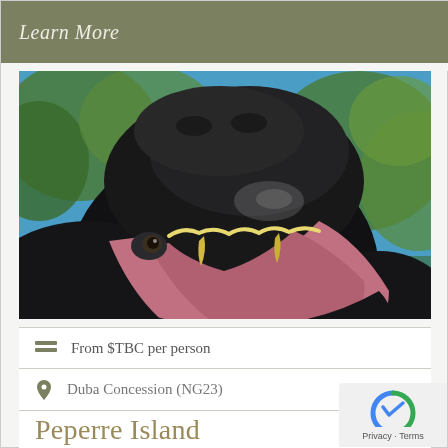Learn More
[Figure (photo): Close-up photograph of a hippopotamus with its mouth wide open, showing large teeth and tusks. The hippo is dark/black in color, set against a blurred background of blue sky and green trees.]
From $TBC per person
Duba Concession (NG23)
Peperre Island